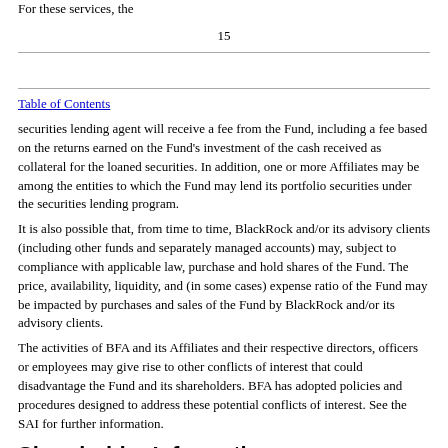For these services, the
15
Table of Contents
securities lending agent will receive a fee from the Fund, including a fee based on the returns earned on the Fund's investment of the cash received as collateral for the loaned securities. In addition, one or more Affiliates may be among the entities to which the Fund may lend its portfolio securities under the securities lending program.
It is also possible that, from time to time, BlackRock and/or its advisory clients (including other funds and separately managed accounts) may, subject to compliance with applicable law, purchase and hold shares of the Fund. The price, availability, liquidity, and (in some cases) expense ratio of the Fund may be impacted by purchases and sales of the Fund by BlackRock and/or its advisory clients.
The activities of BFA and its Affiliates and their respective directors, officers or employees may give rise to other conflicts of interest that could disadvantage the Fund and its shareholders. BFA has adopted policies and procedures designed to address these potential conflicts of interest. See the SAI for further information.
Shareholder Information
Additional shareholder information, including how to buy and sell shares of the Fund, is available free of charge by calling toll-free: 1-800-iShares (1-800-474-2737) or visiting our website at www.iShares.com.
Buying and Selling Shares. Shares of the Fund may be acquired or redeemed